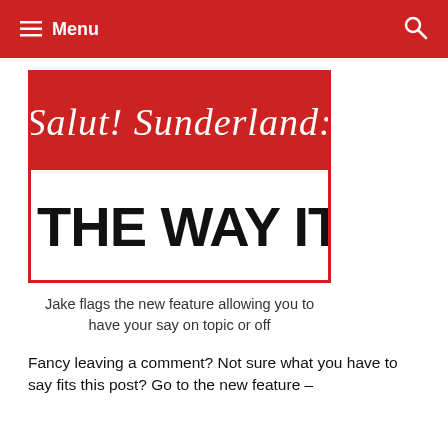Menu
[Figure (logo): Salut! Sunderland – The Way It Is logo: red background with white cursive 'Salut! Sunderland:' text on top half, white background with bold black 'THE WAY IT IS' text on bottom half]
Jake flags the new feature allowing you to have your say on topic or off
Fancy leaving a comment? Not sure what you have to say fits this post? Go to the new feature –